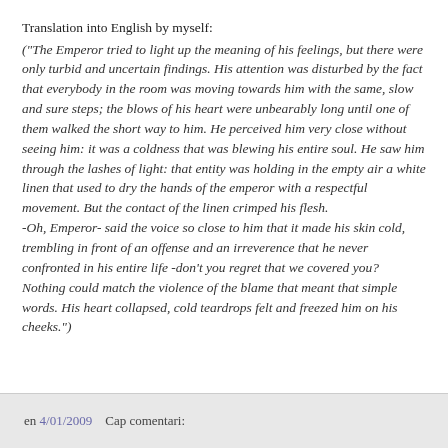Translation into English by myself:
("The Emperor tried to light up the meaning of his feelings, but there were only turbid and uncertain findings. His attention was disturbed by the fact that everybody in the room was moving towards him with the same, slow and sure steps; the blows of his heart were unbearably long until one of them walked the short way to him. He perceived him very close without seeing him: it was a coldness that was blewing his entire soul. He saw him through the lashes of light: that entity was holding in the empty air a white linen that used to dry the hands of the emperor with a respectful movement. But the contact of the linen crimped his flesh. -Oh, Emperor- said the voice so close to him that it made his skin cold, trembling in front of an offense and an irreverence that he never confronted in his entire life -don't you regret that we covered you? Nothing could match the violence of the blame that meant that simple words. His heart collapsed, cold teardrops felt and freezed him on his cheeks.")
en 4/01/2009    Cap comentari: